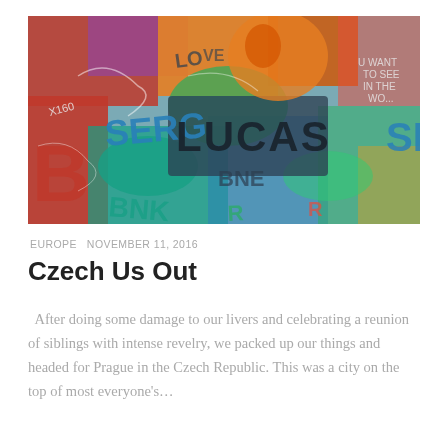[Figure (photo): Colorful graffiti wall covered in multilayered spray paint text and artwork, featuring names like SERGI, LUCAS, and various other graffiti tags in red, blue, orange, green and other colors.]
EUROPE  NOVEMBER 11, 2016
Czech Us Out
After doing some damage to our livers and celebrating a reunion of siblings with intense revelry, we packed up our things and headed for Prague in the Czech Republic. This was a city on the top of most everyone's...